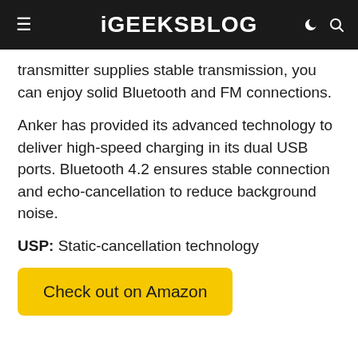iGEEKSBLOG
transmitter supplies stable transmission, you can enjoy solid Bluetooth and FM connections.
Anker has provided its advanced technology to deliver high-speed charging in its dual USB ports. Bluetooth 4.2 ensures stable connection and echo-cancellation to reduce background noise.
USP: Static-cancellation technology
Check out on Amazon